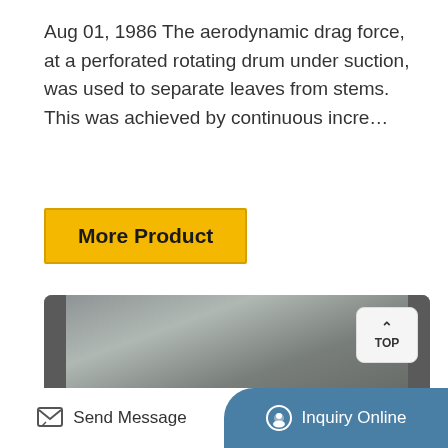Aug 01, 1986 The aerodynamic drag force, at a perforated rotating drum under suction, was used to separate leaves from stems. This was achieved by continuous incre...
[Figure (other): Button labeled 'More Product' with yellow/gold background and dark border]
[Figure (photo): Photo of a perforated rotating drum machine with a red drum roller visible inside a metal housing, watermarked with 'HZKD']
Send Message   Inquiry Online